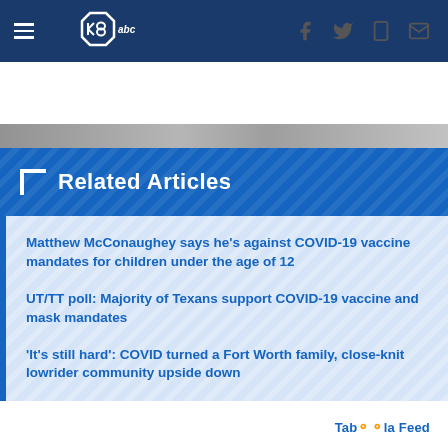[Figure (screenshot): News website navigation bar with hamburger menu, KSAT 8 abc logo, and social media icons (Facebook, Twitter, mobile, email)]
[Figure (photo): Partial image strip below navigation bar]
Related Articles
Matthew McConaughey says he's against COVID-19 vaccine mandates for children under the age of 12
UT/TT poll: Majority of Texans support COVID-19 vaccine and mask mandates
'It's still hard': COVID turned a Fort Worth family, close-knit lowrider community upside down
Taboola Feed